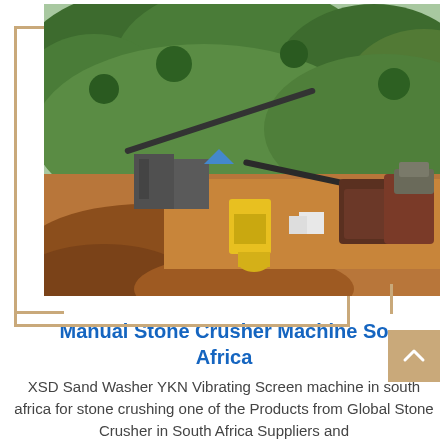[Figure (photo): Aerial/elevated view of a stone crusher and mining equipment operation site with conveyor belts, yellow generator, machinery, vehicles, red/orange dirt mounds in the foreground, and lush green hills in the background.]
Manual Stone Crusher Machine South Africa
XSD Sand Washer YKN Vibrating Screen machine in south africa for stone crushing one of the Products from Global Stone Crusher in South Africa Suppliers and